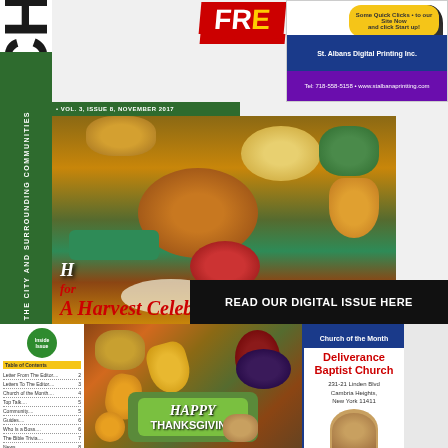[Figure (illustration): Your Church News newspaper front page cover. Left side shows vertical masthead 'YOUR CHURCH NEWS' rotated 90 degrees. Top has FREE CIRCULATION badge in red. Top right has advertiser box for St. Albans Digital Printing Inc. Main image shows Thanksgiving feast with turkey and harvest foods. Overlay text reads 'Harvest for A Harvest Celebration'. Black banner reads 'READ OUR DIGITAL ISSUE HERE'. Bottom section shows table of contents, Happy Thanksgiving image, and Church of the Month feature for Deliverance Baptist Church.]
YOUR CHURCH NEWS
VOL. 3, ISSUE 8, NOVEMBER 2017
AROUND THE CITY AND SURROUNDING COMMUNITIES
FREE CIRCULATION
Harvest for A Harvest Celebration
READ OUR DIGITAL ISSUE HERE
Church of the Month
Deliverance Baptist Church
231-21 Linden Blvd Cambria Heights, New York 11411
HAPPY THANKSGIVING